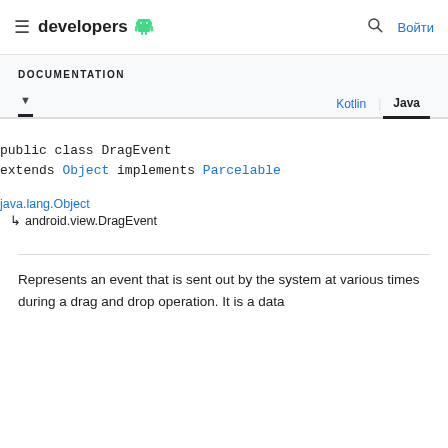≡ developers 🤖  🔍 Войти
DOCUMENTATION
Kotlin | Java
java.lang.Object
  ↳ android.view.DragEvent
Represents an event that is sent out by the system at various times during a drag and drop operation. It is a data